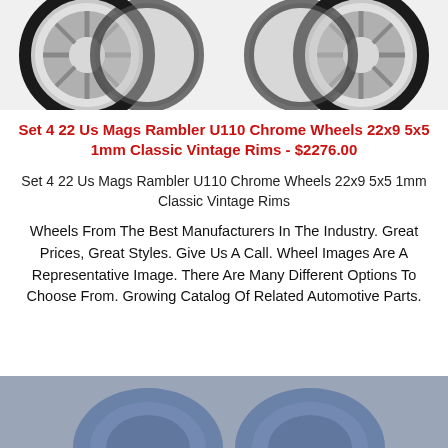[Figure (photo): Two pairs of chrome wheels/rims shown from front on white background, top of page cropped]
Set 4 22 Us Mags Rambler U110 Chrome Wheels 22x9 5x5 1mm Classic Vintage Rims - $2276.00
Set 4 22 Us Mags Rambler U110 Chrome Wheels 22x9 5x5 1mm Classic Vintage Rims
Wheels From The Best Manufacturers In The Industry. Great Prices, Great Styles. Give Us A Call. Wheel Images Are A Representative Image. There Are Many Different Options To Choose From. Growing Catalog Of Related Automotive Parts.
[Figure (photo): Bottom portion of page showing chrome/blue wheels partially visible, cropped at bottom]